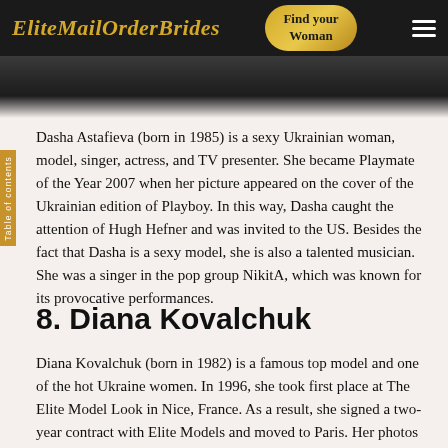EliteMailOrderBrides | Find your Woman
[Figure (photo): Dark photo strip at top of page, partially visible woman's photo]
Dasha Astafieva (born in 1985) is a sexy Ukrainian woman, model, singer, actress, and TV presenter. She became Playmate of the Year 2007 when her picture appeared on the cover of the Ukrainian edition of Playboy. In this way, Dasha caught the attention of Hugh Hefner and was invited to the US. Besides the fact that Dasha is a sexy model, she is also a talented musician. She was a singer in the pop group NikitA, which was known for its provocative performances.
8. Diana Kovalchuk
Diana Kovalchuk (born in 1982) is a famous top model and one of the hot Ukraine women. In 1996, she took first place at The Elite Model Look in Nice, France. As a result, she signed a two-year contract with Elite Models and moved to Paris. Her photos appeared on the covers of such editions as